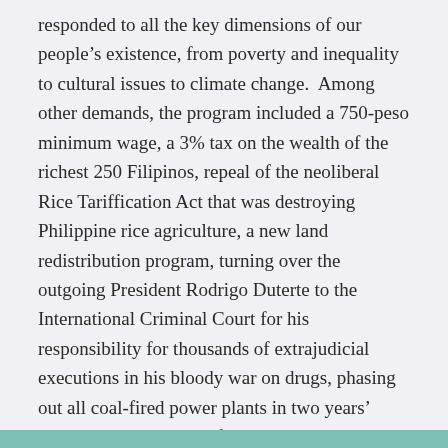responded to all the key dimensions of our people's existence, from poverty and inequality to cultural issues to climate change.  Among other demands, the program included a 750-peso minimum wage, a 3% tax on the wealth of the richest 250 Filipinos, repeal of the neoliberal Rice Tariffication Act that was destroying Philippine rice agriculture, a new land redistribution program, turning over the outgoing President Rodrigo Duterte to the International Criminal Court for his responsibility for thousands of extrajudicial executions in his bloody war on drugs, phasing out all coal-fired power plants in two years' time, and legalization of divorce, same-sex marriage, and abortion.  (For those interested, here is the link to the detailed program.)